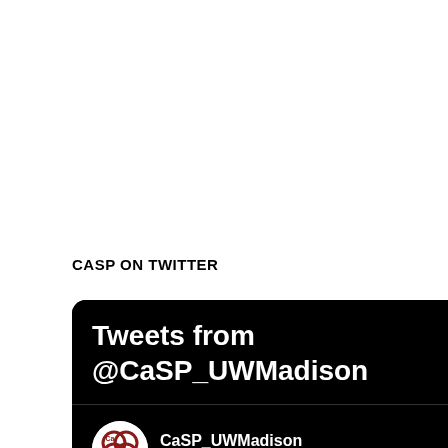CASP ON TWITTER
[Figure (screenshot): Twitter widget showing 'Tweets from @CaSP_UWMadison' with a tweet from CaSP_UWMadison dated Jun 17 reading: 'We are alarmed by the recent racist attacks in our community and believe international students have a right to feel safe and supported. March against Asian hate today at 4 PM.']